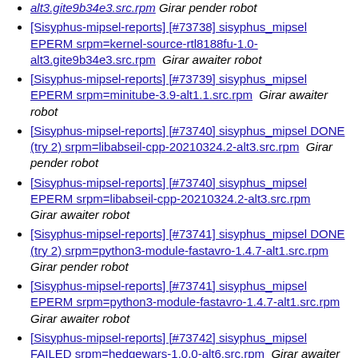[Sisyphus-mipsel-reports] [#73738] sisyphus_mipsel EPERM srpm=kernel-source-rtl8188fu-1.0-alt3.gite9b34e3.src.rpm  Girar awaiter robot
[Sisyphus-mipsel-reports] [#73739] sisyphus_mipsel EPERM srpm=minitube-3.9-alt1.1.src.rpm  Girar awaiter robot
[Sisyphus-mipsel-reports] [#73740] sisyphus_mipsel DONE (try 2) srpm=libabseil-cpp-20210324.2-alt3.src.rpm  Girar pender robot
[Sisyphus-mipsel-reports] [#73740] sisyphus_mipsel EPERM srpm=libabseil-cpp-20210324.2-alt3.src.rpm  Girar awaiter robot
[Sisyphus-mipsel-reports] [#73741] sisyphus_mipsel DONE (try 2) srpm=python3-module-fastavro-1.4.7-alt1.src.rpm  Girar pender robot
[Sisyphus-mipsel-reports] [#73741] sisyphus_mipsel EPERM srpm=python3-module-fastavro-1.4.7-alt1.src.rpm  Girar awaiter robot
[Sisyphus-mipsel-reports] [#73742] sisyphus_mipsel FAILED srpm=hedgewars-1.0.0-alt6.src.rpm  Girar awaiter robot
[Sisyphus-mipsel-reports] [#73743] sisyphus_mipsel EPERM srpm=obfs4-0.0.11-alt1.gite330d1b7.src.rpm  Girar awaiter robot
[Sisyphus-mipsel-reports] [#73744] sisyphus_mipsel DONE